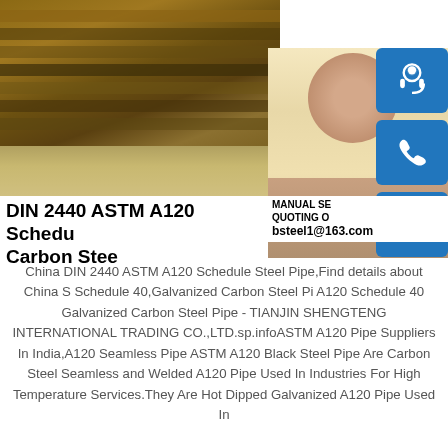[Figure (photo): Photo of stacked steel plates/sheets outdoors on ground, brown/rust colored]
[Figure (photo): Photo of a woman with headset smiling, customer service representative]
[Figure (infographic): Three blue icon buttons on right side: headset/customer service icon, phone icon, and Skype icon]
MANUAL SE
QUOTING O
bsteel1@163.com
DIN 2440 ASTM A120 Schedu Carbon Stee
China DIN 2440 ASTM A120 Schedule Steel Pipe,Find details about China S Schedule 40,Galvanized Carbon Steel Pi A120 Schedule 40 Galvanized Carbon Steel Pipe - TIANJIN SHENGTENG INTERNATIONAL TRADING CO.,LTD.sp.infoASTM A120 Pipe Suppliers In India,A120 Seamless Pipe ASTM A120 Black Steel Pipe Are Carbon Steel Seamless and Welded A120 Pipe Used In Industries For High Temperature Services.They Are Hot Dipped Galvanized A120 Pipe Used In